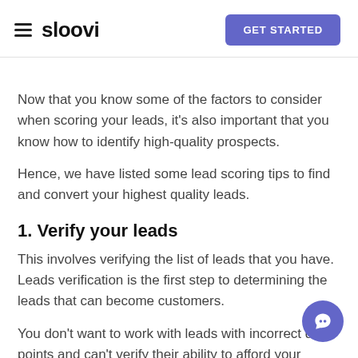sloovi | GET STARTED
Now that you know some of the factors to consider when scoring your leads, it's also important that you know how to identify high-quality prospects.
Hence, we have listed some lead scoring tips to find and convert your highest quality leads.
1. Verify your leads
This involves verifying the list of leads that you have. Leads verification is the first step to determining the leads that can become customers.
You don't want to work with leads with incorrect d… points and can't verify their ability to afford your